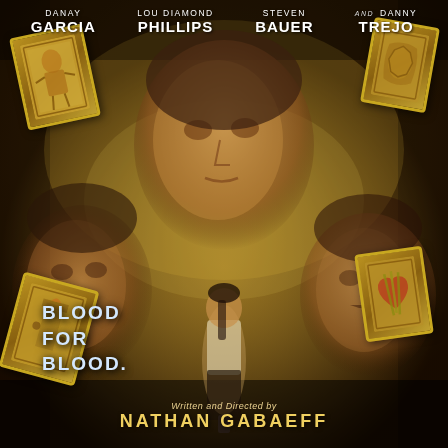[Figure (photo): Movie poster for a film featuring four actors (Danay Garcia, Lou Diamond Phillips, Steven Bauer, and Danny Trejo) depicted in a golden/sepia-toned composition with tarot cards scattered around them. A woman in a white tank top stands in the center foreground. The tagline reads 'BLOOD FOR BLOOD'. Written and Directed by Nathan Gabaeff.]
DANAY GARCIA   LOU DIAMOND PHILLIPS   STEVEN BAUER   and   DANNY TREJO
BLOOD
FOR
BLOOD
Written and Directed by
NATHAN GABAEFF